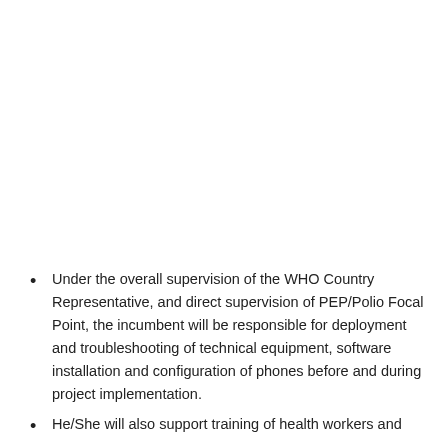Under the overall supervision of the WHO Country Representative, and direct supervision of PEP/Polio Focal Point, the incumbent will be responsible for deployment and troubleshooting of technical equipment, software installation and configuration of phones before and during project implementation.
He/She will also support training of health workers and